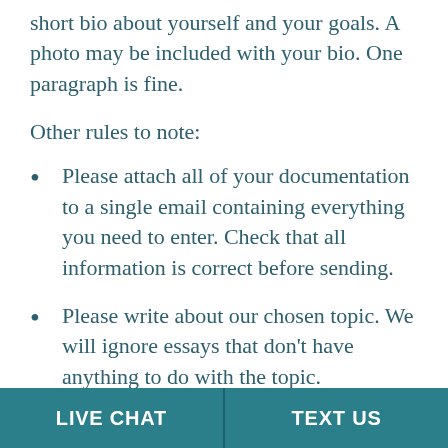short bio about yourself and your goals. A photo may be included with your bio. One paragraph is fine.
Other rules to note:
Please attach all of your documentation to a single email containing everything you need to enter. Check that all information is correct before sending.
Please write about our chosen topic. We will ignore essays that don't have anything to do with the topic.
We will NOT be replying to most emails we receive. We simply get far too many. Please
LIVE CHAT | TEXT US